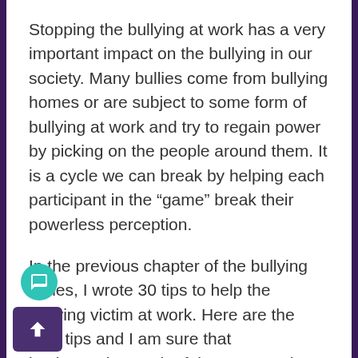Stopping the bullying at work has a very important impact on the bullying in our society. Many bullies come from bullying homes or are subject to some form of bullying at work and try to regain power by picking on the people around them. It is a cycle we can break by helping each participant in the “game” break their powerless perception.
In the previous chapter of the bullying series, I wrote 30 tips to help the bullying victim at work. Here are the next tips and I am sure that implementing each of them can make a huge difference in your life.